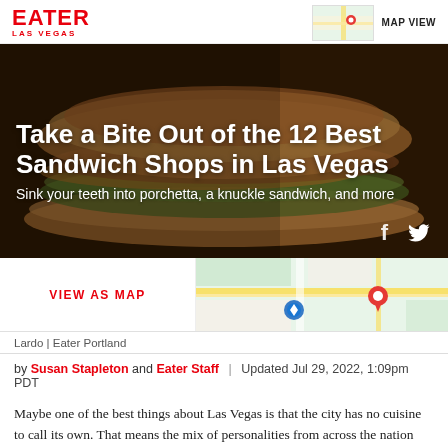EATER LAS VEGAS | MAP VIEW
[Figure (photo): Hero image of a sandwich (sub/hoagie) on a dark background with article title overlay. Title: Take a Bite Out of the 12 Best Sandwich Shops in Las Vegas. Subtitle: Sink your teeth into porchetta, a knuckle sandwich, and more. Social sharing icons for Facebook and Twitter visible.]
[Figure (map): Google Maps-style map showing a red location pin, with VIEW AS MAP link on the left side]
Lardo | Eater Portland
by Susan Stapleton and Eater Staff | Updated Jul 29, 2022, 1:09pm PDT
Maybe one of the best things about Las Vegas is that the city has no cuisine to call its own. That means the mix of personalities from across the nation